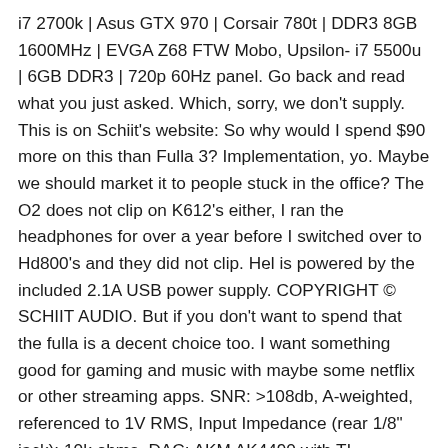i7 2700k | Asus GTX 970 | Corsair 780t | DDR3 8GB 1600MHz | EVGA Z68 FTW Mobo, Upsilon- i7 5500u | 6GB DDR3 | 720p 60Hz panel. Go back and read what you just asked. Which, sorry, we don't supply. This is on Schiit's website: So why would I spend $90 more on this than Fulla 3? Implementation, yo. Maybe we should market it to people stuck in the office? The O2 does not clip on K612's either, I ran the headphones for over a year before I switched over to Hd800's and they did not clip. Hel is powered by the included 2.1A USB power supply. COPYRIGHT © SCHIIT AUDIO. But if you don't want to spend that the fulla is a decent choice too. I want something good for gaming and music with maybe some netflix or other streaming apps. SNR: >108db, A-weighted, referenced to 1V RMS, Input Impedance (rear 1/8" jack): 10k ohms, DAC: AKM AK4490 with TI OPA1662-based filter stage, Output Stage: TI OPA1688 (4 amp stages per channel), Power Supply: Via USB, with +/- 12V rails via high-current dual-polarity switching regulator, with inductor filtering and local